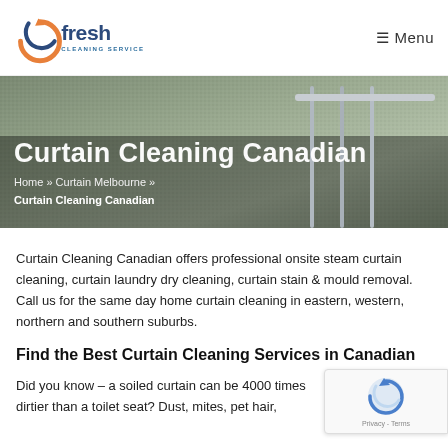Fresh Cleaning Services | ≡ Menu
[Figure (photo): Hero banner image showing curtain rods and fabric background with text overlay 'Curtain Cleaning Canadian' and breadcrumb navigation]
Home » Curtain Melbourne » Curtain Cleaning Canadian
Curtain Cleaning Canadian offers professional onsite steam curtain cleaning, curtain laundry dry cleaning, curtain stain & mould removal. Call us for the same day home curtain cleaning in eastern, western, northern and southern suburbs.
Find the Best Curtain Cleaning Services in Canadian
Did you know – a soiled curtain can be 4000 times dirtier than a toilet seat? Dust, mites, pet hair,